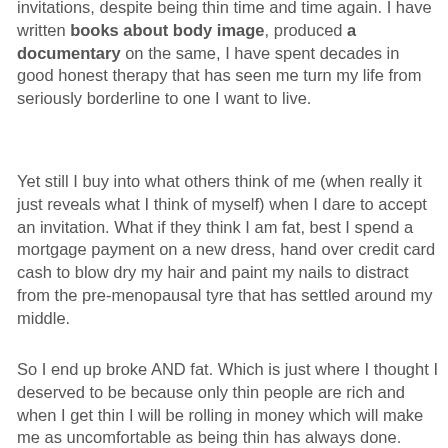invitations, despite being thin time and time again. I have written books about body image, produced a documentary on the same, I have spent decades in good honest therapy that has seen me turn my life from seriously borderline to one I want to live.
Yet still I buy into what others think of me (when really it just reveals what I think of myself) when I dare to accept an invitation. What if they think I am fat, best I spend a mortgage payment on a new dress, hand over credit card cash to blow dry my hair and paint my nails to distract from the pre-menopausal tyre that has settled around my middle.
So I end up broke AND fat. Which is just where I thought I deserved to be because only thin people are rich and when I get thin I will be rolling in money which will make me as uncomfortable as being thin has always done. Because thin women